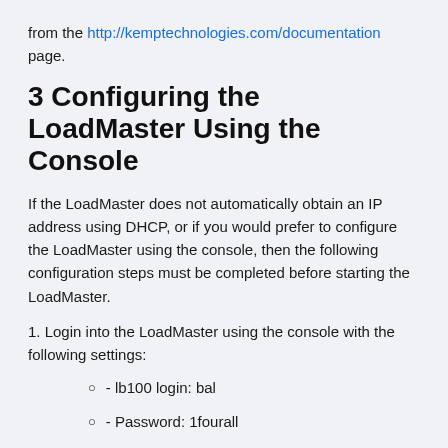from the http://kemptechnologies.com/documentation page.
3 Configuring the LoadMaster Using the Console
If the LoadMaster does not automatically obtain an IP address using DHCP, or if you would prefer to configure the LoadMaster using the console, then the following configuration steps must be completed before starting the LoadMaster.
1. Login into the LoadMaster using the console with the following settings:
- lb100 login: bal
- Password: 1fourall